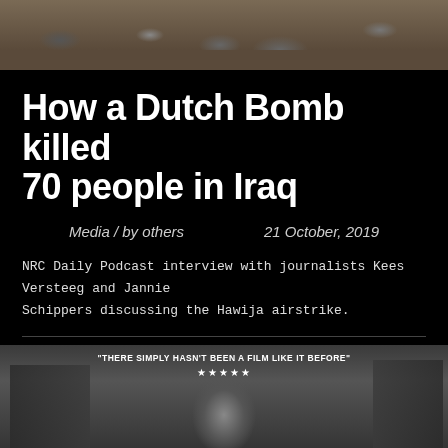[Figure (photo): Aerial or ground-level photo of rubble and destruction, war debris scene]
How a Dutch Bomb killed 70 people in Iraq
Media / by others          21 October, 2019
NRC Daily Podcast interview with journalists Kees Versteeg and Jannie Schippers discussing the Hawija airstrike.
[Figure (photo): Movie poster for 'For Sama' - black and white image of a woman in hijab holding a baby in a war-torn city street. Text reads: "THERE SIMPLY HASN'T BEEN A FILM LIKE IT BEFORE" ★★★★★. Title: FOR SAMA (with Arabic script لك سما)]